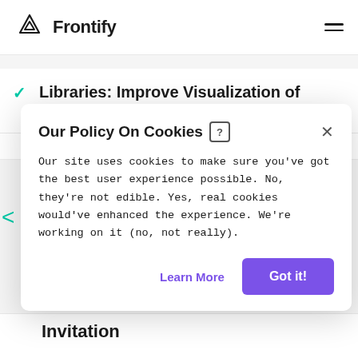Frontify
Libraries: Improve Visualization of Small File Sizes
Our Policy On Cookies
Our site uses cookies to make sure you've got the best user experience possible. No, they're not edible. Yes, real cookies would've enhanced the experience. We're working on it (no, not really).
Learn More
Got it!
Invitation